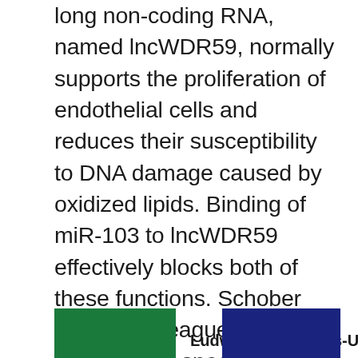long non-coding RNA, named lncWDR59, normally supports the proliferation of endothelial cells and reduces their susceptibility to DNA damage caused by oxidized lipids. Binding of miR-103 to lncWDR59 effectively blocks both of these functions. Schober and his colleagues went on to show that specific inhibition of the miR-103/lncWDR59 interaction in a mouse experimental model indeed delayed the development of atherosclerosis. "We have found similar mechanisms in the human vasculature, so that the inhibitor molecule we used in the mouse may be of therapeutic value," Schober adds.Nature Communications 2018
Ludwig-Maximilians-Universität